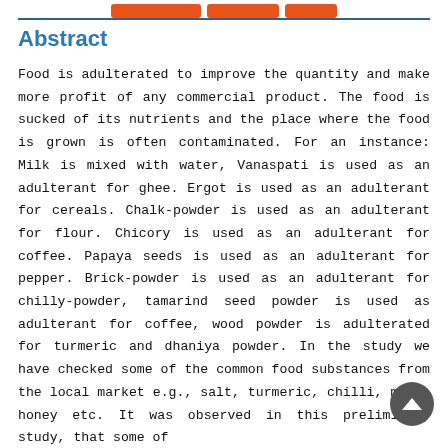Abstract
Food is adulterated to improve the quantity and make more profit of any commercial product. The food is sucked of its nutrients and the place where the food is grown is often contaminated. For an instance: Milk is mixed with water, Vanaspati is used as an adulterant for ghee. Ergot is used as an adulterant for cereals. Chalk-powder is used as an adulterant for flour. Chicory is used as an adulterant for coffee. Papaya seeds is used as an adulterant for pepper. Brick-powder is used as an adulterant for chilly-powder, tamarind seed powder is used as adulterant for coffee, wood powder is adulterated for turmeric and dhaniya powder. In the study we have checked some of the common food substances from the local market e.g., salt, turmeric, chilli, milk, honey etc. It was observed in this preliminary study, that some of